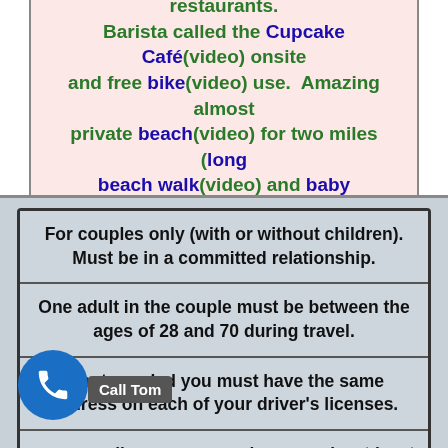evening in the resorts ala carte restaurants. Barista called the Cupcake Café(video) onsite and free bike(video) use. Amazing almost private beach(video) for two miles (long beach walk(video) and baby monkeys(video)!
For couples only (with or without children). Must be in a committed relationship.
One adult in the couple must be between the ages of 28 and 70 during travel.
If not married you must have the same address on each of your driver's licenses.
lle a couple you make at least 60,000 USD a year gross.